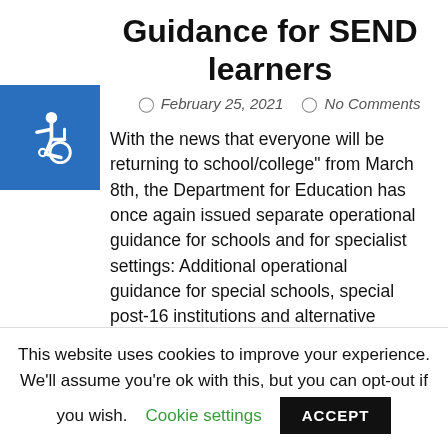Guidance for SEND learners
February 25, 2021  No Comments
[Figure (illustration): Blue square accessibility icon with wheelchair symbol]
With the news that everyone will be returning to school/college" from March 8th, the Department for Education has once again issued separate operational guidance for schools and for specialist settings: Additional operational guidance for special schools, special post-16 institutions and alternative provision. Below
This website uses cookies to improve your experience. We'll assume you're ok with this, but you can opt-out if you wish.  Cookie settings  ACCEPT